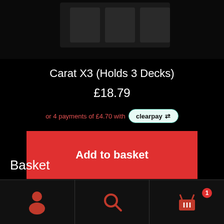[Figure (photo): Product image of Carat X3 card holder on dark background]
Carat X3 (Holds 3 Decks)
£18.79
or 4 payments of £4.70 with clearpay
Add to basket
Basket
[Figure (screenshot): Bottom navigation bar with user icon, search icon, and basket icon with badge showing 1]